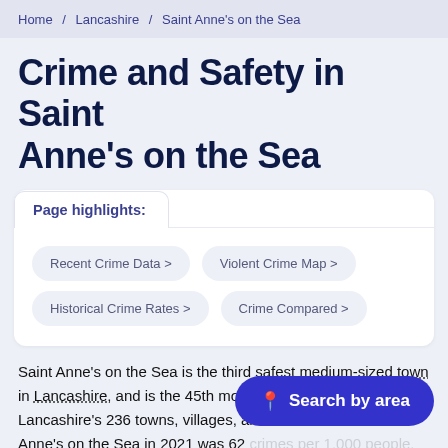Home / Lancashire / Saint Anne's on the Sea
Crime and Safety in Saint Anne's on the Sea
Page highlights:
Recent Crime Data >
Violent Crime Map >
Historical Crime Rates >
Crime Compared >
Saint Anne's on the Sea is the third safest medium-sized town in Lancashire, and is the 45th most dangerous overall out of Lancashire's 236 towns, villages, and cities. Crime in Saint Anne's on the Sea in 2021 was 62 crimes per 1,000 people. This compares favourably to Lancashire's overall crime rate, coming